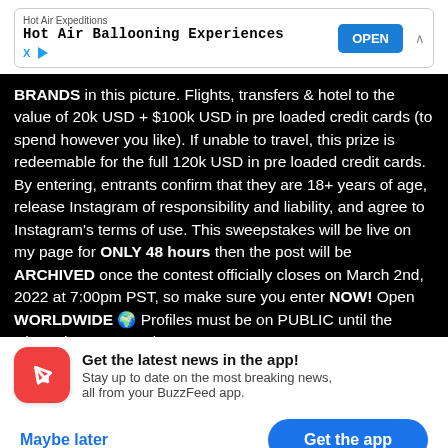[Figure (screenshot): Mobile ad banner for Hot Air Expeditions: 'Hot Air Ballooning Experiences' with OPEN button and close/collapse controls]
BRANDS in this picture. Flights, transfers & hotel to the value of 20k USD + $100k USD in pre loaded credit cards (to spend however you like). If unable to travel, this prize is redeemable for the full 120k USD in pre loaded credit cards. By entering, entrants confirm that they are 18+ years of age, release Instagram of responsibility and liability, and agree to Instagram's terms of use. This sweepstakes will be live on my page for ONLY 48 hours then the post will be ARCHIVED once the contest officially closes on March 2nd, 2022 at 7:00pm PST, so make sure you enter NOW! Open WORLDWIDE 🌍 Profiles must be on PUBLIC until the winner is announced
[Figure (screenshot): BuzzFeed app notification prompt with red icon showing upward arrow, headline 'Get the latest news in the app!' and subtext 'Stay up to date on the most breaking news, all from your BuzzFeed app.']
Maybe later
Get the app